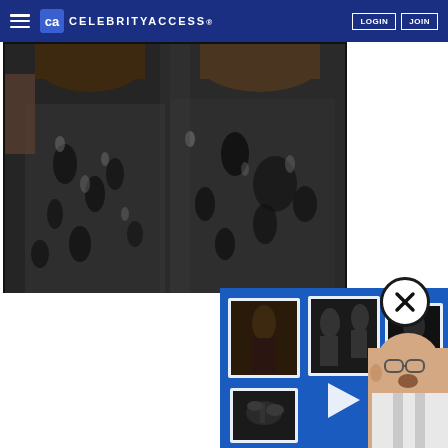CelebrityAccess
[Figure (photo): Two people in dark patterned clothing with feathers/sequins at what appears to be a party or event]
[Figure (photo): Video popup thumbnail showing a man and album artwork on blue background]